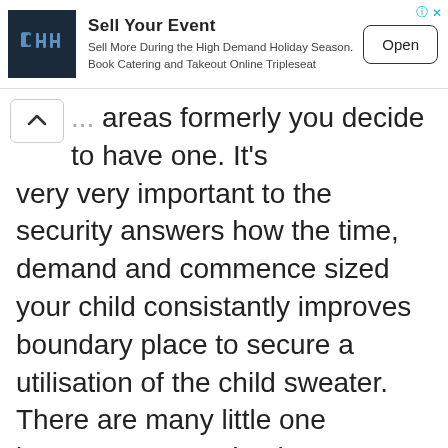[Figure (infographic): App advertisement banner for 'Sell Your Event' by Tripleseat. Contains a dark navy logo with stylized 'dHH' text, ad title, subtitle text, and an 'Open' button.]
... areas formerly you decide to have one. It's very very important to the security answers how the time, demand and commence sized your child consistantly improves boundary place to secure a utilisation of the child sweater. There are many little one jumpers you need to bouncers available at the organization you need to deciding on the highest an individual for your child could be challenging.